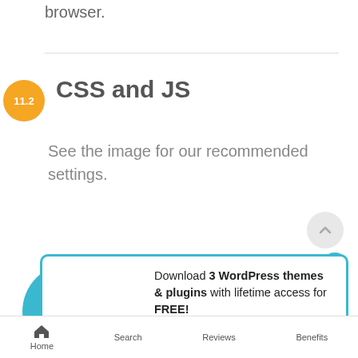browser.
11.2  CSS and JS
See the image for our recommended settings.
[Figure (screenshot): Popup banner with cloud download icon. Text reads: Download 3 WordPress themes & plugins with lifetime access for FREE! Click here to Join]
Home  Search  Reviews  Benefits